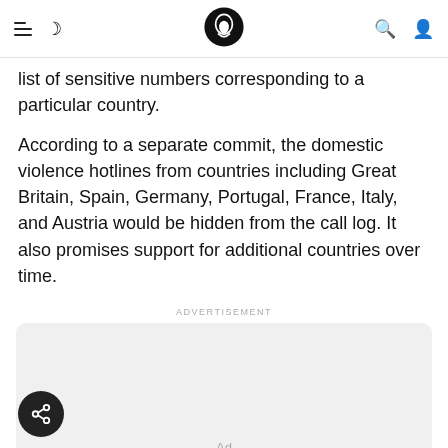[navigation bar with hamburger menu, moon icon, logo, search icon, user icon]
list of sensitive numbers corresponding to a particular country.
According to a separate commit, the domestic violence hotlines from countries including Great Britain, Spain, Germany, Portugal, France, Italy, and Austria would be hidden from the call log. It also promises support for additional countries over time.
ADVERTISEMENT
[Figure (other): Advertisement placeholder box with 'Ad' label and loading spinner, alongside a circular share button]